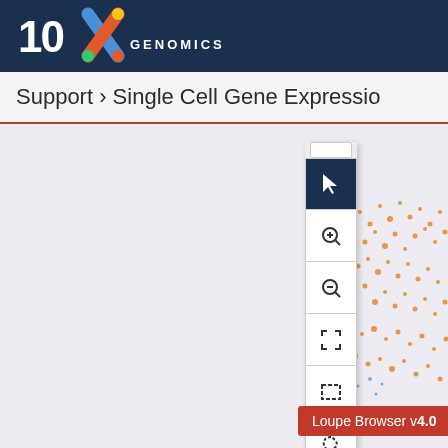[Figure (screenshot): 10x Genomics logo in white on dark navy header bar, with '10x' in large bold text, a colored X mark, and 'GENOMICS' in spaced uppercase letters]
Support › Single Cell Gene Expressio
[Figure (screenshot): Loupe Browser v4.0 interface screenshot showing a dark navy toolbar on the right side with icons: cursor/select, zoom in, zoom out, fit/expand, rectangle select, lasso select, save, open folder, and a partially visible icon at bottom. To the right of the toolbar is a scatter plot visualization with orange dots forming clusters. At the bottom is a red badge reading 'Loupe Browser v4.0']